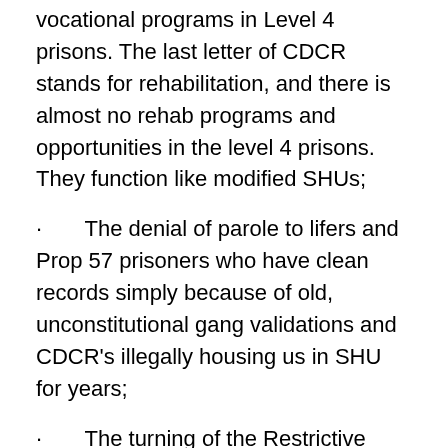vocational programs in Level 4 prisons. The last letter of CDCR stands for rehabilitation, and there is almost no rehab programs and opportunities in the level 4 prisons. They function like modified SHUs;
· The denial of parole to lifers and Prop 57 prisoners who have clean records simply because of old, unconstitutional gang validations and CDCR's illegally housing us in SHU for years;
· The turning of the Restrictive Custody General Population Unit which was supposed to be a GP unit where prisoners who had real safety concerns could transition to regular GP, into a purgatory where the only way out is to either debrief or die;